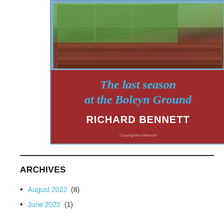[Figure (photo): Book cover for 'The last season at the Boleyn Ground' by Richard Bennett. Dark red/maroon background with an aerial photo of a football stadium at the top showing green pitch and brown/red seating. Title text in blue italic, author name in white bold. Small 'Copyrighted Material' text at bottom.]
ARCHIVES
August 2022 (8)
June 2022 (1)